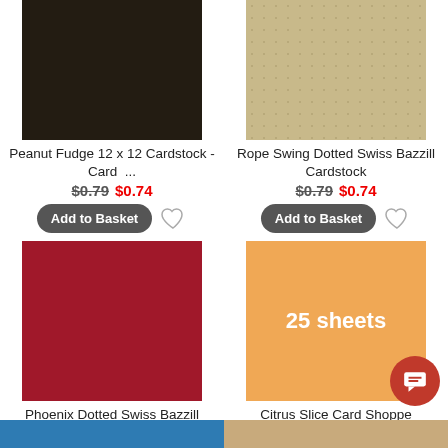[Figure (photo): Dark brown/near-black cardstock swatch, 12x12]
Peanut Fudge 12 x 12 Cardstock - Card ...
$0.79  $0.74
[Figure (photo): Light tan/beige dotted Swiss Bazzill cardstock swatch]
Rope Swing Dotted Swiss Bazzill Cardstock
$0.79  $0.74
[Figure (photo): Deep red/crimson cardstock swatch]
Phoenix Dotted Swiss Bazzill Cardstock
$0.79  $0.74
[Figure (photo): Orange cardstock with '25 sheets' text overlay]
Citrus Slice Card Shoppe Heavyweight ...
$17.49